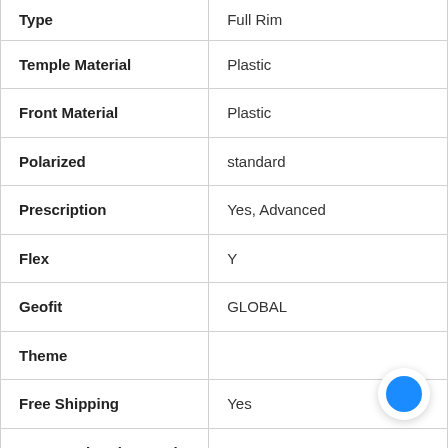| Attribute | Value |
| --- | --- |
| Type | Full Rim |
| Temple Material | Plastic |
| Front Material | Plastic |
| Polarized | standard |
| Prescription | Yes, Advanced |
| Flex | Y |
| Geofit | GLOBAL |
| Theme |  |
| Free Shipping | Yes |
| 100% Authentic Brand New Eyewear | Yes |
|  |  |